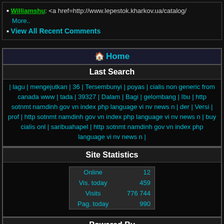Williamshu: <a href=http://www.lepestok.kharkov.ua/catalog/ More.. View All Recent Comments
🏠 Home
Last Search
| lagu | mengejutkan | 36 | Tersembunyi | poyas | cialis non generic from canada www | tada | 39327 | Dalam | Bagi | gelombang | Ibu | http sotnmt namdinh gov vn index php language vi nv news n | der | Versi | prof | http sotnmt namdinh gov vn index php language vi nv news n | buy cialis onl | saribuahapel | http sotnmt namdinh gov vn index php language vi nv news n |
Site Statistics
|  |  |
| --- | --- |
| Online | 12 |
| Vis. today | 459 |
| Visits | 776 744 |
| Pag. today | 990 |
Powered By
AnekaNews.net 05/05/2015 - 2022